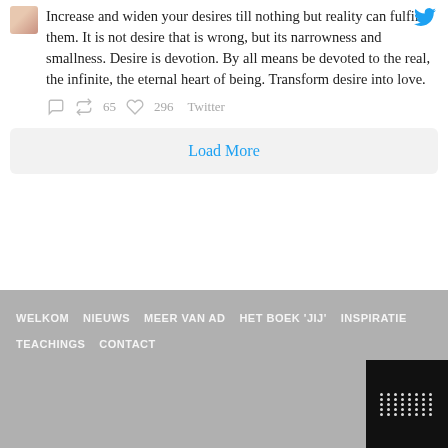Increase and widen your desires till nothing but reality can fulfil them. It is not desire that is wrong, but its narrowness and smallness. Desire is devotion. By all means be devoted to the real, the infinite, the eternal heart of being. Transform desire into love.
65  296  Twitter
Load More
WELKOM  NIEUWS  MEER VAN AD  HET BOEK 'JIJ'  INSPIRATIE  TEACHINGS  CONTACT